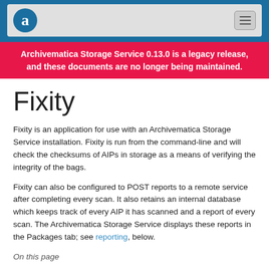Archivematica logo and navigation bar
Archivematica Storage Service 0.13.0 is a legacy release, and these documents are no longer being maintained.
Fixity
Fixity is an application for use with an Archivematica Storage Service installation. Fixity is run from the command-line and will check the checksums of AIPs in storage as a means of verifying the integrity of the bags.
Fixity can also be configured to POST reports to a remote service after completing every scan. It also retains an internal database which keeps track of every AIP it has scanned and a report of every scan. The Archivematica Storage Service displays these reports in the Packages tab; see reporting, below.
On this page